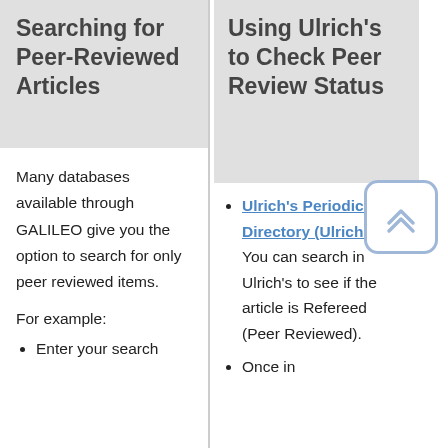Searching for Peer-Reviewed Articles
Many databases available through GALILEO give you the option to search for only peer reviewed items.
For example:
Enter your search
Using Ulrich's to Check Peer Review Status
Ulrich's Periodicals Directory (Ulrichsweb) You can search in Ulrich's to see if the article is Refereed (Peer Reviewed).
Once in
[Figure (other): Back to top button with double chevron arrow icon, light blue border and rounded corners]